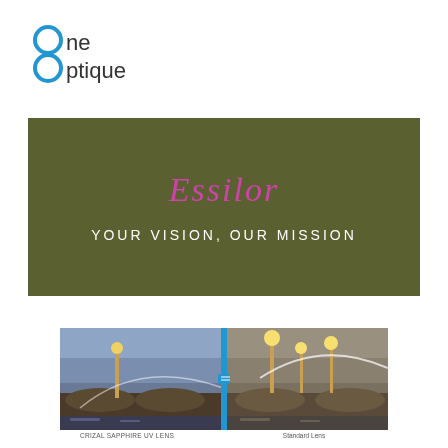[Figure (logo): One Optique logo with two blue circles forming the '8' shape before 'ne' and 'ptique' text in dark color]
[Figure (infographic): Olive/dark green rectangular banner with 'Essilor' in magenta/pink italic text and 'YOUR VISION, OUR MISSION' in white uppercase text below]
[Figure (photo): Split comparison photo of a Paris bridge scene (Pont Alexandre III) showing left side labeled 'CRIZAL SAPPHIRE UV LENS' and right side labeled 'Standard Lens', divided by a vertical blue slider line]
CRIZAL SAPPHIRE UV LENS
Standard Lens